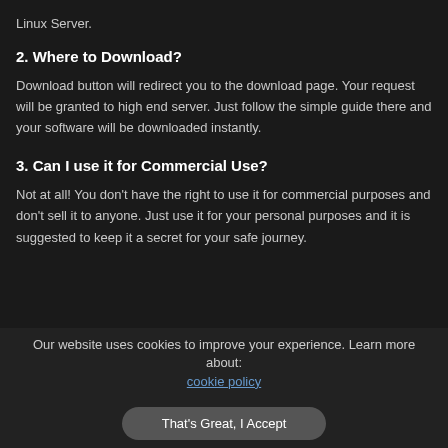Linux Server.
2. Where to Download?
Download button will redirect you to the download page. Your request will be granted to high end server. Just follow the simple guide there and your software will be downloaded instantly.
3. Can I use it for Commercial Use?
Not at all! You don't have the right to use it for commercial purposes and don't sell it to anyone. Just use it for your personal purposes and it is suggested to keep it a secret for your safe journey.
Our website uses cookies to improve your experience. Learn more about: cookie policy
That's Great, I Accept